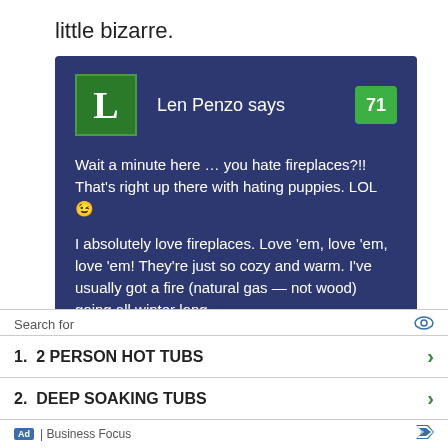little bizarre.
[Figure (screenshot): Comment box with dark navy blue background showing Len Penzo says with vote count 71 and comment text about loving fireplaces]
Search for
1.  2 PERSON HOT TUBS
2.  DEEP SOAKING TUBS
Ad | Business Focus